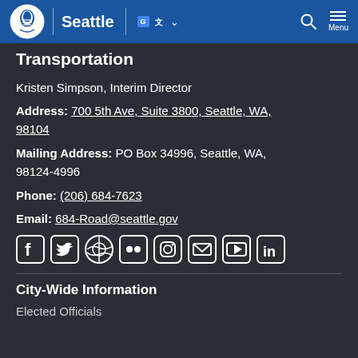Seattle — City of Seattle website header with logo, Google Translate button, search, and menu
Transportation
Kristen Simpson, Interim Director
Address: 700 5th Ave, Suite 3800, Seattle, WA, 98104
Mailing Address: PO Box 34996, Seattle, WA, 98124-4996
Phone: (206) 684-7623
Email: 684-Road@seattle.gov
[Figure (infographic): Social media icons row: Facebook, Twitter, WordPress, Flickr, Instagram, Email, YouTube, LinkedIn]
City-Wide Information
Elected Officials